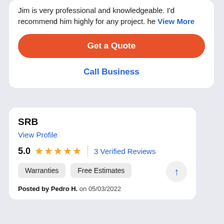Jim is very professional and knowledgeable. I'd recommend him highly for any project. he View More
Get a Quote
Call Business
SRB
View Profile
5.0 ★★★★★ | 3 Verified Reviews
Warranties
Free Estimates
Posted by Pedro H. on 05/03/2022